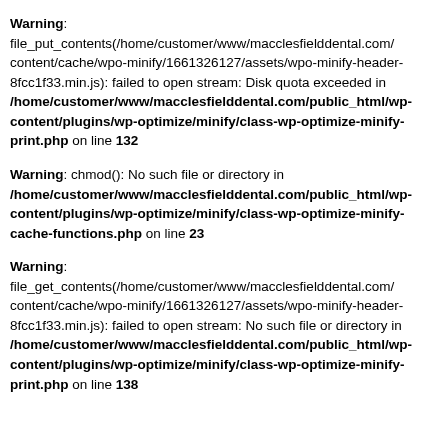Warning: file_put_contents(/home/customer/www/macclesfielddental.com/content/cache/wpo-minify/1661326127/assets/wpo-minify-header-8fcc1f33.min.js): failed to open stream: Disk quota exceeded in /home/customer/www/macclesfielddental.com/public_html/wp-content/plugins/wp-optimize/minify/class-wp-optimize-minify-print.php on line 132
Warning: chmod(): No such file or directory in /home/customer/www/macclesfielddental.com/public_html/wp-content/plugins/wp-optimize/minify/class-wp-optimize-minify-cache-functions.php on line 23
Warning: file_get_contents(/home/customer/www/macclesfielddental.com/content/cache/wpo-minify/1661326127/assets/wpo-minify-header-8fcc1f33.min.js): failed to open stream: No such file or directory in /home/customer/www/macclesfielddental.com/public_html/wp-content/plugins/wp-optimize/minify/class-wp-optimize-minify-print.php on line 138